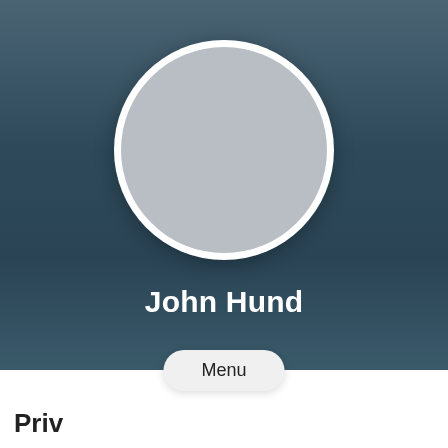[Figure (illustration): Circular profile photo placeholder with light gray fill and white border on a dark teal gradient background]
John Hund
Menu
Priv...Poli...